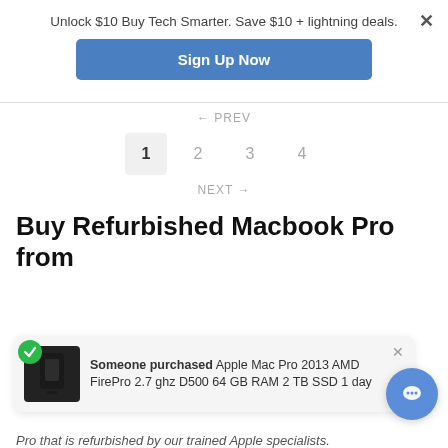Unlock $10 Buy Tech Smarter. Save $10 + lightning deals.
Sign Up Now
← PREV
1  2  3  4
NEXT →
Buy Refurbished Macbook Pro from
Someone purchased Apple Mac Pro 2013 AMD FirePro 2.7 ghz D500 64 GB RAM 2 TB SSD 1 day
Pro that is refurbished by our trained Apple specialists.